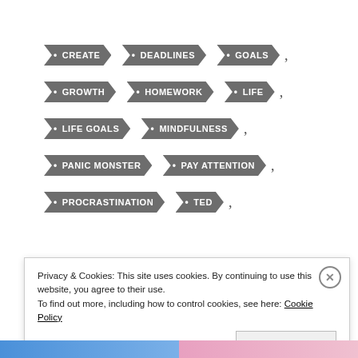• CREATE
• DEADLINES
• GOALS
• GROWTH
• HOMEWORK
• LIFE
• LIFE GOALS
• MINDFULNESS
• PANIC MONSTER
• PAY ATTENTION
• PROCRASTINATION
• TED
Privacy & Cookies: This site uses cookies. By continuing to use this website, you agree to their use.
To find out more, including how to control cookies, see here: Cookie Policy
Close and accept